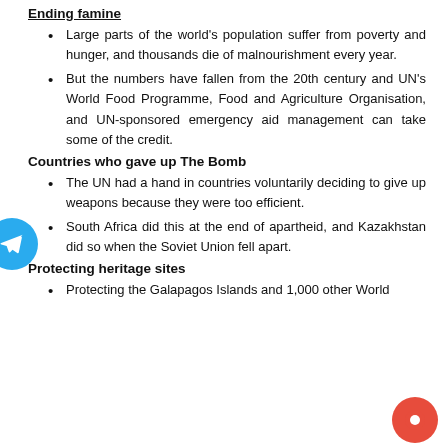Ending famine
Large parts of the world's population suffer from poverty and hunger, and thousands die of malnourishment every year.
But the numbers have fallen from the 20th century and UN's World Food Programme, Food and Agriculture Organisation, and UN-sponsored emergency aid management can take some of the credit.
Countries who gave up The Bomb
The UN had a hand in countries voluntarily deciding to give up weapons because they were too efficient.
South Africa did this at the end of apartheid, and Kazakhstan did so when the Soviet Union fell apart.
Protecting heritage sites
Protecting the Galapagos Islands and 1,000 other World...